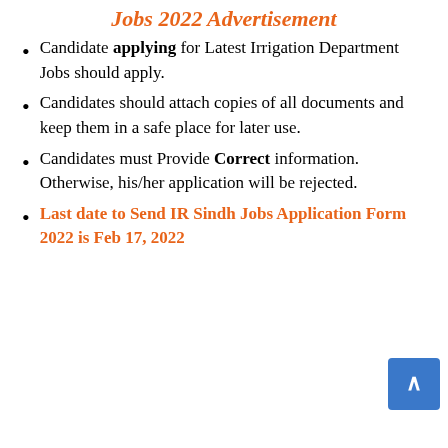Jobs 2022 Advertisement
Candidate applying for Latest Irrigation Department Jobs should apply.
Candidates should attach copies of all documents and keep them in a safe place for later use.
Candidates must Provide Correct information. Otherwise, his/her application will be rejected.
Last date to Send IR Sindh Jobs Application Form 2022 is Feb 17, 2022